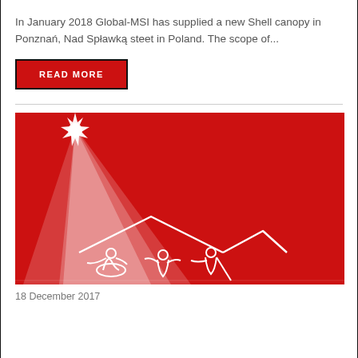In January 2018 Global-MSI has supplied a new Shell canopy in Ponznań, Nad Spławką steet in Poland. The scope of...
READ MORE
[Figure (illustration): Red background illustration depicting a nativity scene with a bright star shining light downward onto figures in a stable, drawn in white line art style.]
18 December 2017